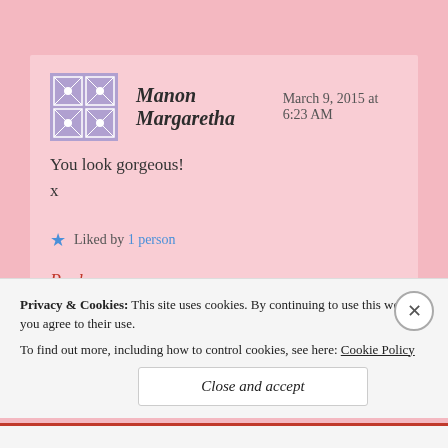Manon Margaretha — March 9, 2015 at 6:23 AM
You look gorgeous!
x
Liked by 1 person
Reply
Privacy & Cookies: This site uses cookies. By continuing to use this website, you agree to their use. To find out more, including how to control cookies, see here: Cookie Policy
Close and accept